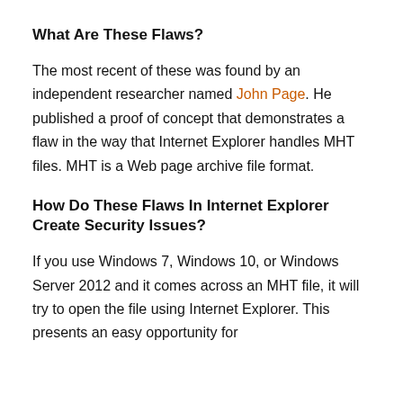What Are These Flaws?
The most recent of these was found by an independent researcher named John Page. He published a proof of concept that demonstrates a flaw in the way that Internet Explorer handles MHT files. MHT is a Web page archive file format.
How Do These Flaws In Internet Explorer Create Security Issues?
If you use Windows 7, Windows 10, or Windows Server 2012 and it comes across an MHT file, it will try to open the file using Internet Explorer. This presents an easy opportunity for